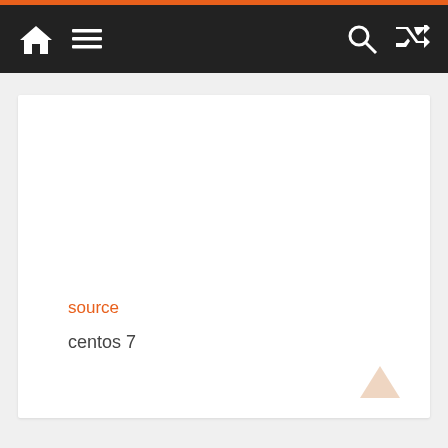Navigation bar with home, menu, search, and shuffle icons
source
centos 7